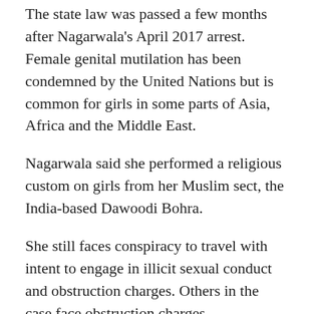The state law was passed a few months after Nagarwala's April 2017 arrest. Female genital mutilation has been condemned by the United Nations but is common for girls in some parts of Asia, Africa and the Middle East.
Nagarwala said she performed a religious custom on girls from her Muslim sect, the India-based Dawoodi Bohra.
She still faces conspiracy to travel with intent to engage in illicit sexual conduct and obstruction charges. Others in the case face obstruction charges.
"I did think he would rule in our favor," defense attorney Shannon Smith said of Friedman.
Smith filed a motion on behalf of Nagarwala to have the charges dismissed...